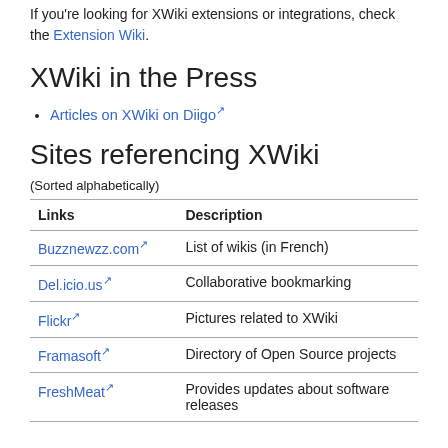If you're looking for XWiki extensions or integrations, check the Extension Wiki.
XWiki in the Press
Articles on XWiki on Diigo
Sites referencing XWiki
(Sorted alphabetically)
| Links | Description |
| --- | --- |
| Buzznewzz.com | List of wikis (in French) |
| Del.icio.us | Collaborative bookmarking |
| Flickr | Pictures related to XWiki |
| Framasoft | Directory of Open Source projects |
| FreshMeat | Provides updates about software releases |